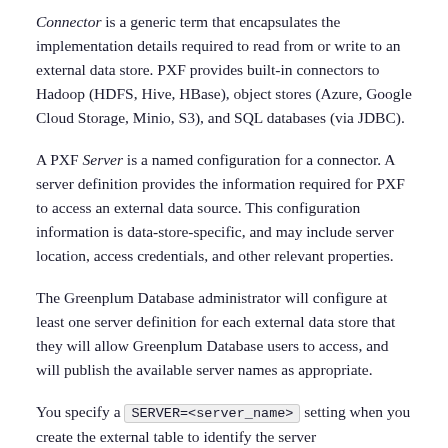Connector is a generic term that encapsulates the implementation details required to read from or write to an external data store. PXF provides built-in connectors to Hadoop (HDFS, Hive, HBase), object stores (Azure, Google Cloud Storage, Minio, S3), and SQL databases (via JDBC).
A PXF Server is a named configuration for a connector. A server definition provides the information required for PXF to access an external data source. This configuration information is data-store-specific, and may include server location, access credentials, and other relevant properties.
The Greenplum Database administrator will configure at least one server definition for each external data store that they will allow Greenplum Database users to access, and will publish the available server names as appropriate.
You specify a SERVER=<server_name> setting when you create the external table to identify the server